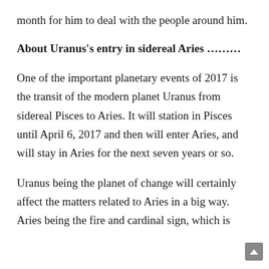month for him to deal with the people around him.
About Uranus’s entry in sidereal Aries ……..
One of the important planetary events of 2017 is the transit of the modern planet Uranus from sidereal Pisces to Aries. It will station in Pisces until April 6, 2017 and then will enter Aries, and will stay in Aries for the next seven years or so.
Uranus being the planet of change will certainly affect the matters related to Aries in a big way. Aries being the fire and cardinal sign, which is